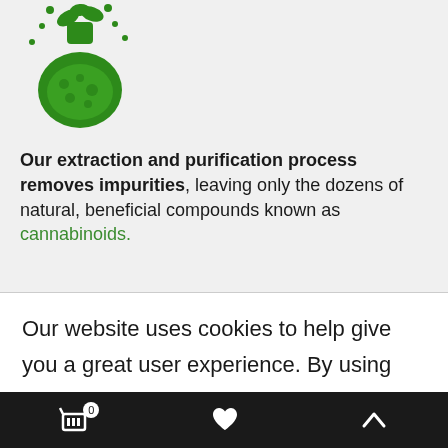[Figure (logo): Green icon of a chemistry flask/beaker with leaves and bubbles, representing natural botanical extraction]
Our extraction and purification process removes impurities, leaving only the dozens of natural, beneficial compounds known as cannabinoids.
Our website uses cookies to help give you a great user experience. By using our website you consent to this policy